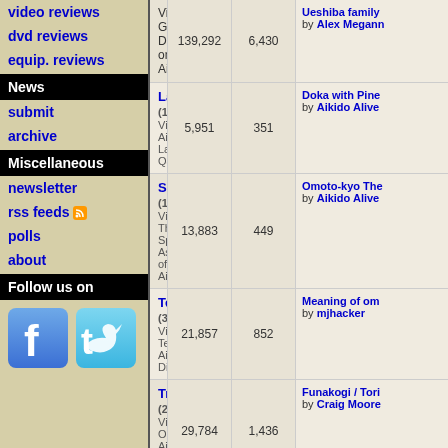video reviews
dvd reviews
equip. reviews
News
submit
archive
Miscellaneous
newsletter
rss feeds
polls
about
Follow us on
| Forum | Posts | Replies | Last Post |
| --- | --- | --- | --- |
| (Viewing) General Discussions on Aikido | 139,292 | 6,430 | Ueshiba family by Alex Megann |
| Language (1 Viewing) Aikido Language Q&A | 5,951 | 351 | Doka with Pine by Aikido Alive |
| Spiritual (1 Viewing) The Spiritual Aspects of Aikido | 13,883 | 449 | Omoto-kyo The by Aikido Alive |
| Techniques (3 Viewing) Technical Aikido Discussions | 21,857 | 852 | Meaning of om by mjhacker |
| Training (2 Viewing) On Aikido Training Methods | 29,784 | 1,436 | Funakogi / Tori by Craig Moore |
| Internal Training in Aikido (1 Viewing) Discussions on Internal Training Practices within the art of Aikido | 3,639 | 79 | What is power? by Rupert Atkins |
| Teaching (1 Viewing) On Teaching Aikido | 6,611 | 307 | Teaching on Zo by Mary Eastlan |
| Testing Aikido Examinations Di... | 3,975 | 212 | USAF Nidan: Ta by jamesf |